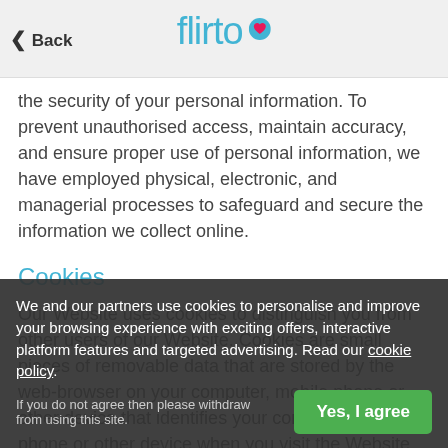Back | flirtio
the security of your personal information. To prevent unauthorised access, maintain accuracy, and ensure proper use of personal information, we have employed physical, electronic, and managerial processes to safeguard and secure the information we collect online.
Cookies
Our Website uses cookies to distinguish you from other users of our Website. Cookies are small pieces of removable data that are stored by the web-browser on your computer, mobile phone or other device that identifies your computer, mobile phone or other device when you visit the Website. We use cookies to improve the Website and the Services available to you.
We and our partners use cookies to personalise and improve your browsing experience with exciting offers, interactive platform features and targeted advertising. Read our cookie policy. If you do not agree then please withdraw from using this site.